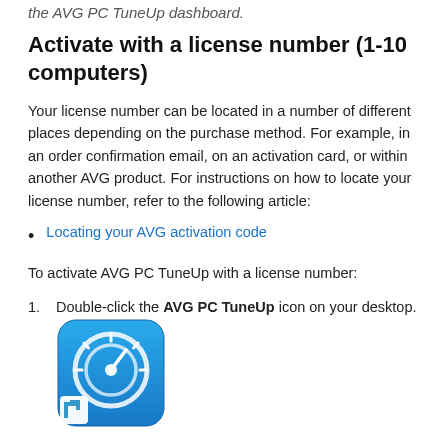the AVG PC TuneUp dashboard.
Activate with a license number (1-10 computers)
Your license number can be located in a number of different places depending on the purchase method. For example, in an order confirmation email, on an activation card, or within another AVG product. For instructions on how to locate your license number, refer to the following article:
Locating your AVG activation code
To activate AVG PC TuneUp with a license number:
Double-click the AVG PC TuneUp icon on your desktop.
[Figure (illustration): AVG PC TuneUp application icon — blue square with rounded corners, white circular speedometer/gauge logo, small arrow shortcut overlay in bottom-left corner]